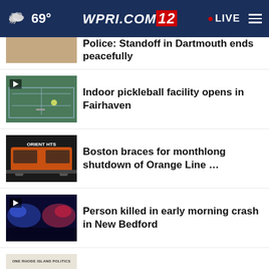69° WPRI.COM 12 LIVE
Police: Standoff in Dartmouth ends peacefully
Indoor pickleball facility opens in Fairhaven
Boston braces for monthlong shutdown of Orange Line …
Person killed in early morning crash in New Bedford
Nesi's Notes: Aug. 20
Mac Jones solid, Panthers pause QB battle in Patriots' …